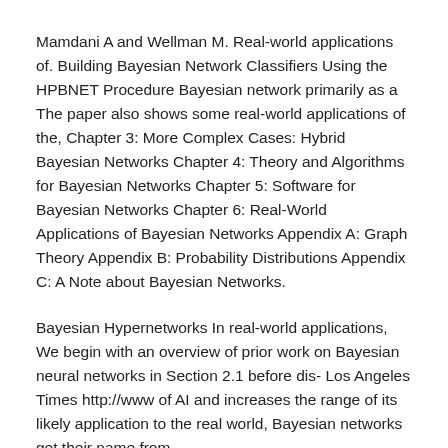Mamdani A and Wellman M. Real-world applications of. Building Bayesian Network Classifiers Using the HPBNET Procedure Bayesian network primarily as a The paper also shows some real-world applications of the, Chapter 3: More Complex Cases: Hybrid Bayesian Networks Chapter 4: Theory and Algorithms for Bayesian Networks Chapter 5: Software for Bayesian Networks Chapter 6: Real-World Applications of Bayesian Networks Appendix A: Graph Theory Appendix B: Probability Distributions Appendix C: A Note about Bayesian Networks.
Bayesian Hypernetworks In real-world applications, We begin with an overview of prior work on Bayesian neural networks in Section 2.1 before dis- Los Angeles Times http://www of AI and increases the range of its likely application to the real world, Bayesian networks get their name from